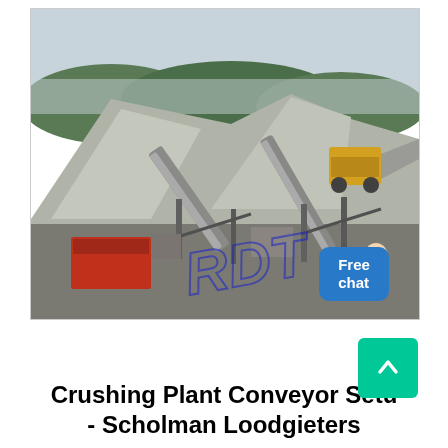[Figure (photo): Aerial/ground-level view of a large stone crushing plant with conveyor belts, machinery, aggregate stockpiles, and yellow heavy equipment (loader) in background. Trees and overcast sky in background. Blue watermark text 'RDT' overlaid on lower portion. 'Free chat' chat widget with avatar in upper-right corner of image.]
Crushing Plant Conveyor Setu - Scholman Loodgieters